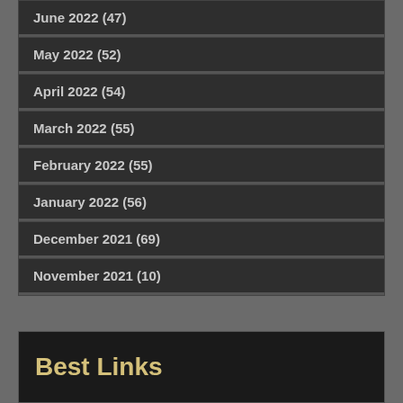June 2022 (47)
May 2022 (52)
April 2022 (54)
March 2022 (55)
February 2022 (55)
January 2022 (56)
December 2021 (69)
November 2021 (10)
Best Links